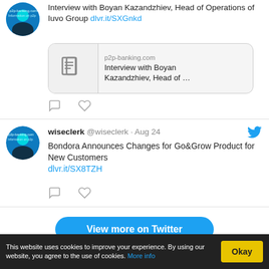[Figure (screenshot): Twitter/social media feed screenshot showing two tweets from wiseclerk account and a 'View more on Twitter' button, plus a cookie consent bar at the bottom.]
Interview with Boyan Kazandzhiev, Head of Operations of Iuvo Group dlvr.it/SXGnkd
p2p-banking.com
Interview with Boyan Kazandzhiev, Head of ...
wiseclerk @wiseclerk · Aug 24
Bondora Announces Changes for Go&Grow Product for New Customers
dlvr.it/SX8TZH
View more on Twitter
This website uses cookies to improve your experience. By using our website, you agree to the use of cookies. More info